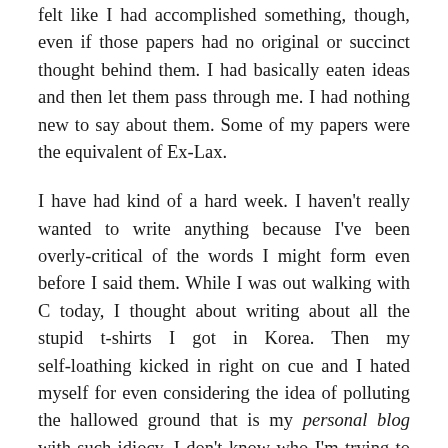felt like I had accomplished something, though, even if those papers had no original or succinct thought behind them. I had basically eaten ideas and then let them pass through me. I had nothing new to say about them. Some of my papers were the equivalent of Ex-Lax.
I have had kind of a hard week. I haven't really wanted to write anything because I've been overly-critical of the words I might form even before I said them. While I was out walking with C today, I thought about writing about all the stupid t-shirts I got in Korea. Then my self-loathing kicked in right on cue and I hated myself for even considering the idea of polluting the hallowed ground that is my personal blog with such idiocy. I don't know who I'm trying to perform for; my scarily serious grad school professors are now putting the fear of Derrida into kids nine years younger than me and I have no reason